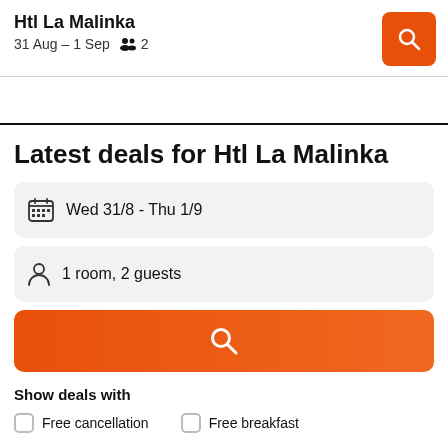Htl La Malinka
31 Aug – 1 Sep  2
Latest deals for Htl La Malinka
Wed 31/8  -  Thu 1/9
1 room, 2 guests
Show deals with
Free cancellation    Free breakfast